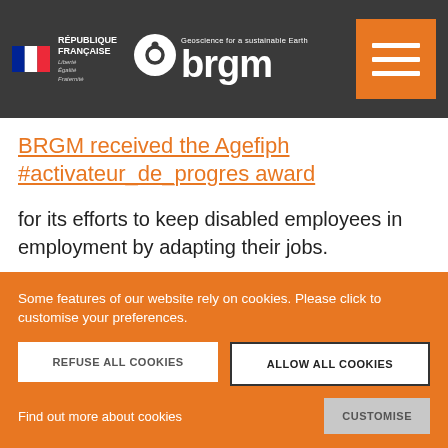BRGM — Geoscience for a sustainable Earth — République Française
BRGM received the Agefiph #activateur_de_progres award for its efforts to keep disabled employees in employment by adapting their jobs.
Some features of our website rely on cookies. Please click to customise your preferences.
REFUSE ALL COOKIES | ALLOW ALL COOKIES | Find out more about cookies | CUSTOMISE